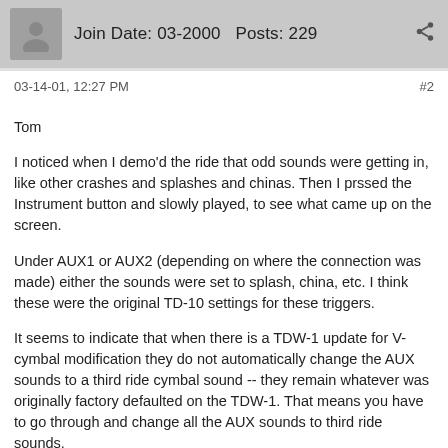Join Date: 03-2000   Posts: 229
03-14-01, 12:27 PM   #2
Tom

I noticed when I demo'd the ride that odd sounds were getting in, like other crashes and splashes and chinas. Then I prssed the Instrument button and slowly played, to see what came up on the screen.

Under AUX1 or AUX2 (depending on where the connection was made) either the sounds were set to splash, china, etc. I think these were the original TD-10 settings for these triggers.

It seems to indicate that when there is a TDW-1 update for V-cymbal modification they do not automatically change the AUX sounds to a third ride cymbal sound -- they remain whatever was originally factory defaulted on the TDW-1. That means you have to go through and change all the AUX sounds to third ride sounds.

And demo sets, well, what salesman is going to go through and do all those changes, even if they are aware of this problem?

Be forewarned.

DJourg